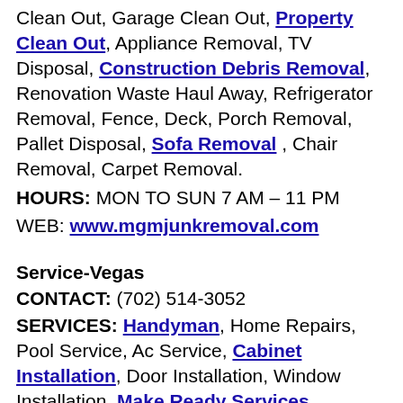Clean Out, Garage Clean Out, Property Clean Out, Appliance Removal, TV Disposal, Construction Debris Removal, Renovation Waste Haul Away, Refrigerator Removal, Fence, Deck, Porch Removal, Pallet Disposal, Sofa Removal, Chair Removal, Carpet Removal.
HOURS: MON TO SUN 7 AM – 11 PM
WEB: www.mgmjunkremoval.com
Service-Vegas
CONTACT: (702) 514-3052
SERVICES: Handyman, Home Repairs, Pool Service, Ac Service, Cabinet Installation, Door Installation, Window Installation, Make Ready Services, Building Maintenance, Landscaping, House Remodeling, Home Renovation, Tv Installation, Picture Art Hanging,